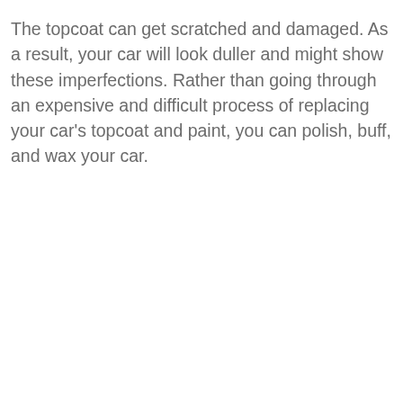The topcoat can get scratched and damaged. As a result, your car will look duller and might show these imperfections. Rather than going through an expensive and difficult process of replacing your car's topcoat and paint, you can polish, buff, and wax your car.